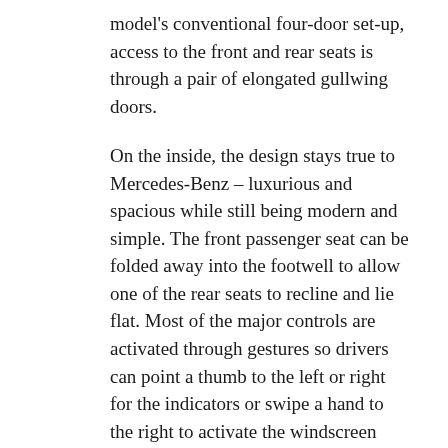model's conventional four-door set-up, access to the front and rear seats is through a pair of elongated gullwing doors.
On the inside, the design stays true to Mercedes-Benz – luxurious and spacious while still being modern and simple. The front passenger seat can be folded away into the footwell to allow one of the rear seats to recline and lie flat. Most of the major controls are activated through gestures so drivers can point a thumb to the left or right for the indicators or swipe a hand to the right to activate the windscreen wipers.
Lightweight construction, using carbon fiber reinforced plastic and aluminium, means the F125 only weighs 1,700kg (3,747 lbs). That's around 300kg less than the current model.